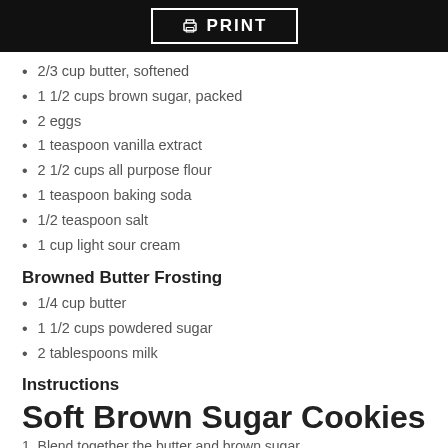PRINT
2/3 cup butter, softened
1 1/2 cups brown sugar, packed
2 eggs
1 teaspoon vanilla extract
2 1/2 cups all purpose flour
1 teaspoon baking soda
1/2 teaspoon salt
1 cup light sour cream
Browned Butter Frosting
1/4 cup butter
1 1/2 cups powdered sugar
2 tablespoons milk
Instructions
Soft Brown Sugar Cookies
1.  Blend together the butter and brown sugar.